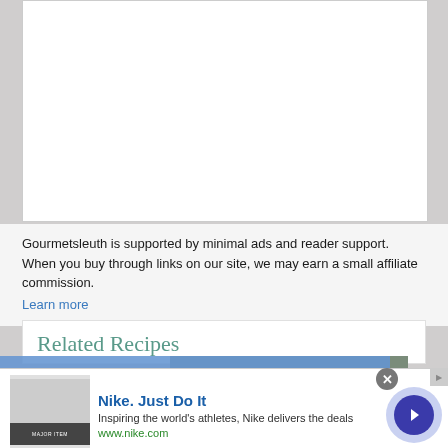[Figure (photo): White empty content box at the top of the page]
Gourmetsleuth is supported by minimal ads and reader support. When you buy through links on our site, we may earn a small affiliate commission. Learn more
Related Recipes
[Figure (photo): Food photo showing red berries/tomatoes and green vegetables on a dark surface]
This website uses cookies to ensure you get the best experience on our website. Learn more
[Figure (screenshot): Nike advertisement banner: Nike. Just Do It. Inspiring the world's athletes, Nike delivers the deals. www.nike.com]